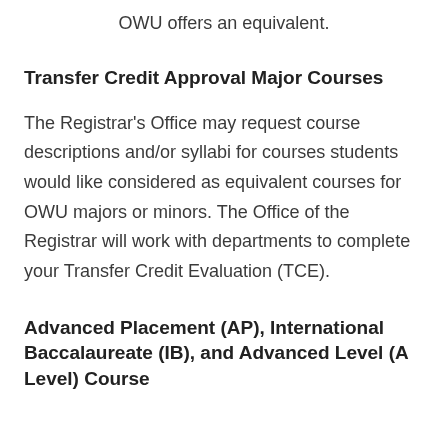OWU offers an equivalent.
Transfer Credit Approval Major Courses
The Registrar's Office may request course descriptions and/or syllabi for courses students would like considered as equivalent courses for OWU majors or minors. The Office of the Registrar will work with departments to complete your Transfer Credit Evaluation (TCE).
Advanced Placement (AP), International Baccalaureate (IB), and Advanced Level (A Level) Course